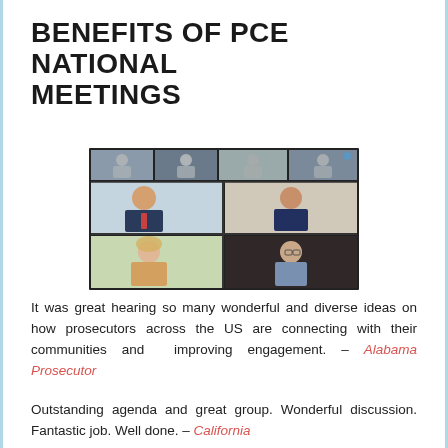BENEFITS OF PCE NATIONAL MEETINGS
[Figure (photo): Screenshot of a video conference call showing multiple participants in a grid layout: top row shows several small thumbnails of participants, middle row shows two larger panels with two men in suits, bottom row shows a woman and a man in casual attire.]
It was great hearing so many wonderful and diverse ideas on how prosecutors across the US are connecting with their communities and  improving engagement. – Alabama Prosecutor
Outstanding agenda and great group. Wonderful discussion. Fantastic job. Well done. – California